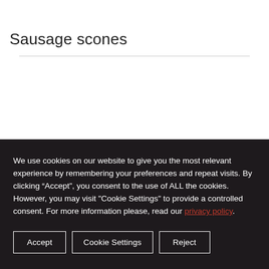Sausage scones
We use cookies on our website to give you the most relevant experience by remembering your preferences and repeat visits. By clicking “Accept”, you consent to the use of ALL the cookies. However, you may visit "Cookie Settings" to provide a controlled consent. For more information please, read our privacy policy.
Accept
Cookie Settings
Reject